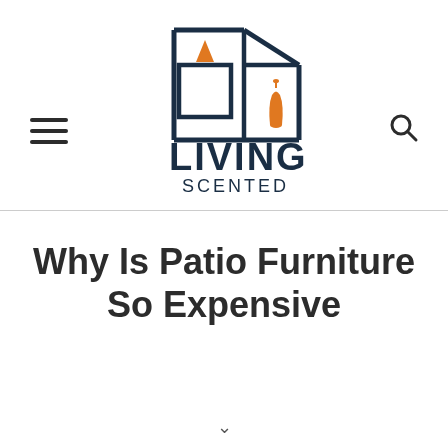[Figure (logo): Living Scented logo with geometric building outline in dark navy blue, orange triangle and orange vase accent, text LIVING SCENTED below]
Why Is Patio Furniture So Expensive